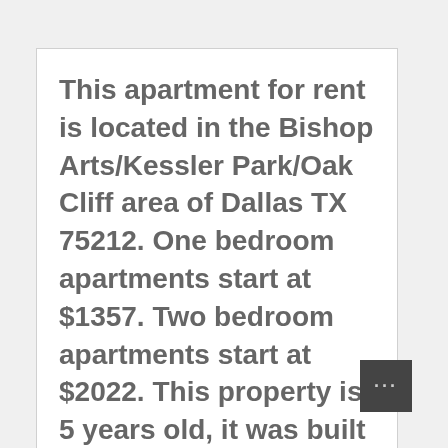This apartment for rent is located in the Bishop Arts/Kessler Park/Oak Cliff area of Dallas TX 75212. One bedroom apartments start at $1357. Two bedroom apartments start at $2022. This property is 5 years old, it was built in 2016, and has 352 units.